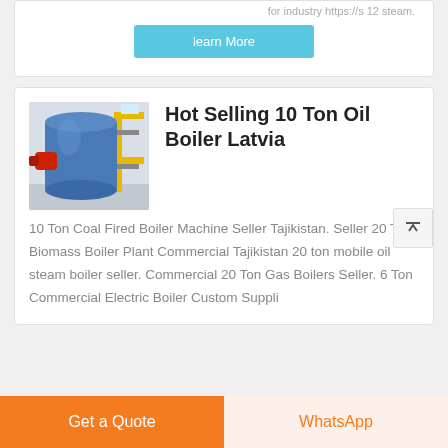for industry https://s 12 steam.
learn More
[Figure (photo): Industrial oil/gas boiler in a factory setting, blue cylindrical vessel with red burner and yellow framework]
Hot Selling 10 Ton Oil Boiler Latvia
10 Ton Coal Fired Boiler Machine Seller Tajikistan. Seller 20 Ton Biomass Boiler Plant Commercial Tajikistan 20 ton mobile oil steam boiler seller. Commercial 20 Ton Gas Boilers Seller. 6 Ton Commercial Electric Boiler Custom Suppli...
Get a Quote
WhatsApp